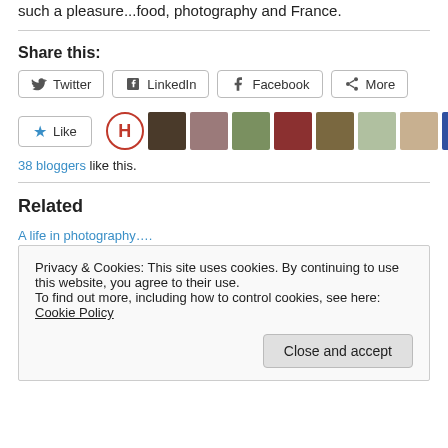such a pleasure...food, photography and France.
Share this:
[Figure (screenshot): Social share buttons: Twitter, LinkedIn, Facebook, More]
[Figure (screenshot): Like button with star icon, followed by a row of 11 blogger avatar images]
38 bloggers like this.
Related
A life in photography….
Privacy & Cookies: This site uses cookies. By continuing to use this website, you agree to their use. To find out more, including how to control cookies, see here: Cookie Policy
Close and accept